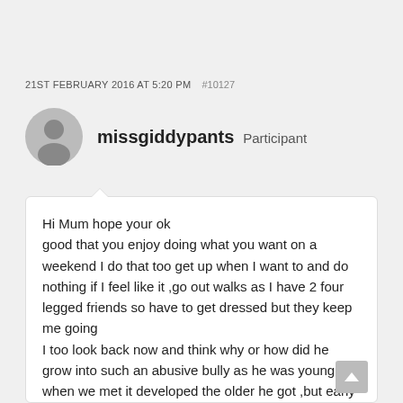21ST FEBRUARY 2016 AT 5:20 PM  #10127
[Figure (illustration): Gray circular avatar icon with silhouette of a person, username 'missgiddypants' and role 'Participant']
Hi Mum hope your ok
good that you enjoy doing what you want on a weekend I do that too get up when I want to and do nothing if I feel like it ,go out walks as I have 2 four legged friends so have to get dressed but they keep me going
I too look back now and think why or how did he grow into such an abusive bully as he was young when we met it developed the older he got ,but early on in my marriage he accused me of having affairs but unlike you I not leave ,he was the one